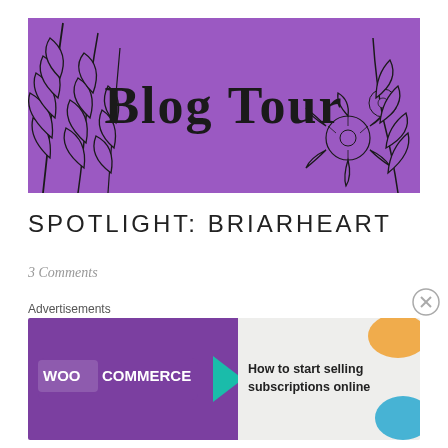[Figure (illustration): Purple 'Blog Tour' banner with black hand-drawn floral/leaf decorations on left and right sides, cursive text 'Blog Tour' in center]
SPOTLIGHT: BRIARHEART
3 Comments
Advertisements
[Figure (illustration): WooCommerce advertisement banner with purple background on left showing WooCommerce logo and teal arrow, and light background on right showing 'How to start selling subscriptions online' text with orange and teal decorative shapes]